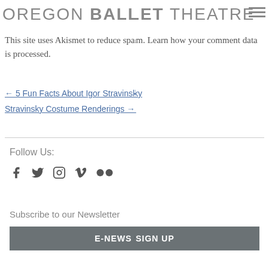OREGON BALLET THEATRE
This site uses Akismet to reduce spam. Learn how your comment data is processed.
← 5 Fun Facts About Igor Stravinsky
Stravinsky Costume Renderings →
Follow Us:
[Figure (other): Social media icons: Facebook, Twitter, Instagram, Vimeo, Flickr]
Subscribe to our Newsletter
E-NEWS SIGN UP